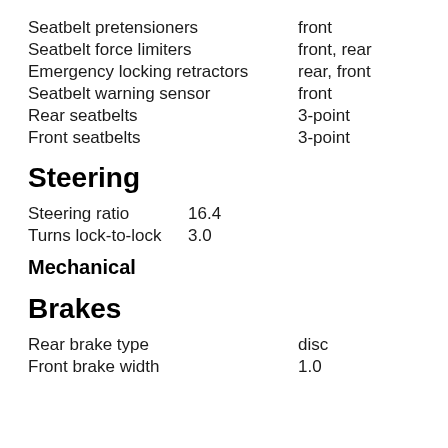Seatbelt pretensioners    front
Seatbelt force limiters    front, rear
Emergency locking retractors    rear, front
Seatbelt warning sensor    front
Rear seatbelts    3-point
Front seatbelts    3-point
Steering
Steering ratio    16.4
Turns lock-to-lock    3.0
Mechanical
Brakes
Rear brake type    disc
Front brake width    1.0